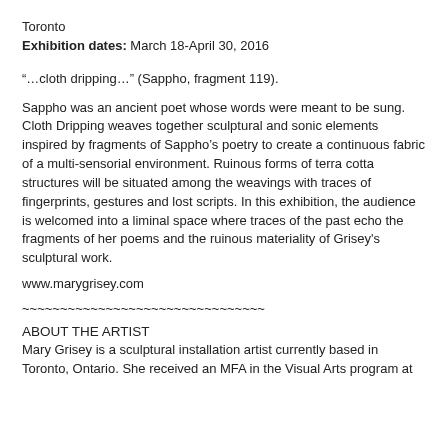Toronto
Exhibition dates: March 18-April 30, 2016
“…cloth dripping…” (Sappho, fragment 119).
Sappho was an ancient poet whose words were meant to be sung. Cloth Dripping weaves together sculptural and sonic elements inspired by fragments of Sappho’s poetry to create a continuous fabric of a multi-sensorial environment. Ruinous forms of terra cotta structures will be situated among the weavings with traces of fingerprints, gestures and lost scripts. In this exhibition, the audience is welcomed into a liminal space where traces of the past echo the fragments of her poems and the ruinous materiality of Grisey's sculptural work.
www.marygrisey.com
~~~~~~~~~~~~~~~~~~~~~~~~~~~~~~~~
ABOUT THE ARTIST
Mary Grisey is a sculptural installation artist currently based in Toronto, Ontario. She received an MFA in the Visual Arts program at